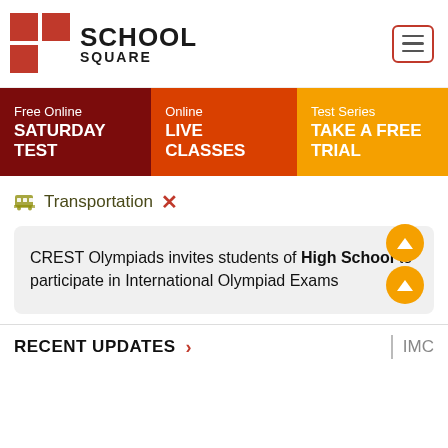[Figure (logo): School Square logo with red plus/grid icon and bold SCHOOL SQUARE text, plus hamburger menu button]
[Figure (infographic): Navigation bar with three sections: Free Online SATURDAY TEST (dark red), Online LIVE CLASSES (orange-red), Test Series TAKE A FREE TRIAL (orange)]
Transportation ✕
CREST Olympiads invites students of High School to participate in International Olympiad Exams
RECENT UPDATES
IMC